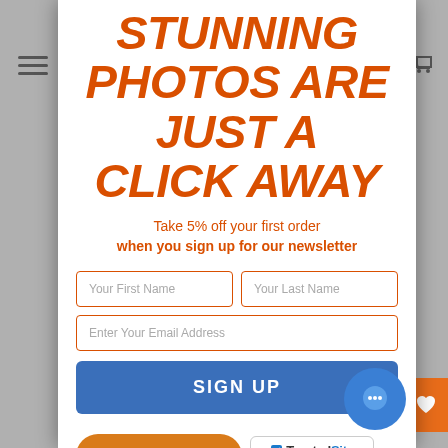STUNNING PHOTOS ARE JUST A CLICK AWAY
Take 5% off your first order when you sign up for our newsletter
[Figure (screenshot): Newsletter signup modal with form fields for first name, last name, email, sign up button, reward points button, and TrustedSite badge]